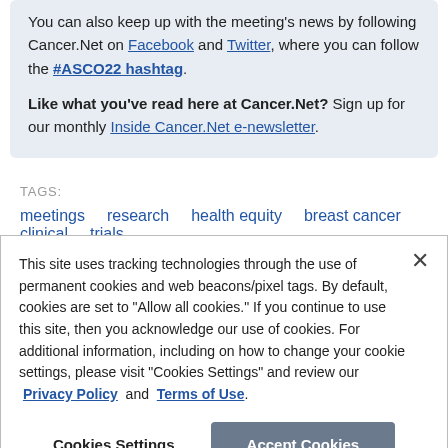You can also keep up with the meeting's news by following Cancer.Net on Facebook and Twitter, where you can follow the #ASCO22 hashtag. Like what you've read here at Cancer.Net? Sign up for our monthly Inside Cancer.Net e-newsletter.
TAGS:
meetings  research  health equity  breast cancer  clinical trials
This site uses tracking technologies through the use of permanent cookies and web beacons/pixel tags. By default, cookies are set to "Allow all cookies." If you continue to use this site, then you acknowledge our use of cookies. For additional information, including on how to change your cookie settings, please visit "Cookies Settings" and review our Privacy Policy and Terms of Use.